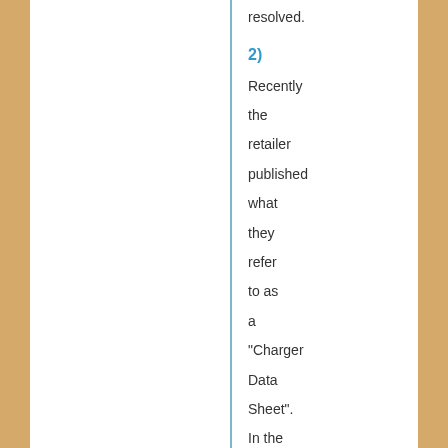resolved.
2)
Recently the retailer published what they refer to as a "Charger Data Sheet". In the document they attempt